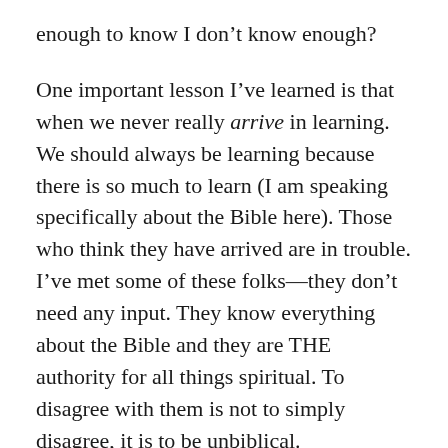enough to know I don’t know enough?
One important lesson I’ve learned is that when we never really arrive in learning. We should always be learning because there is so much to learn (I am speaking specifically about the Bible here). Those who think they have arrived are in trouble. I’ve met some of these folks—they don’t need any input. They know everything about the Bible and they are THE authority for all things spiritual. To disagree with them is not to simply disagree, it is to be unbiblical.